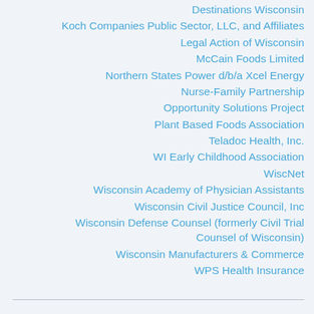Destinations Wisconsin
Koch Companies Public Sector, LLC, and Affiliates
Legal Action of Wisconsin
McCain Foods Limited
Northern States Power d/b/a Xcel Energy
Nurse-Family Partnership
Opportunity Solutions Project
Plant Based Foods Association
Teladoc Health, Inc.
WI Early Childhood Association
WiscNet
Wisconsin Academy of Physician Assistants
Wisconsin Civil Justice Council, Inc
Wisconsin Defense Counsel (formerly Civil Trial Counsel of Wisconsin)
Wisconsin Manufacturers & Commerce
WPS Health Insurance